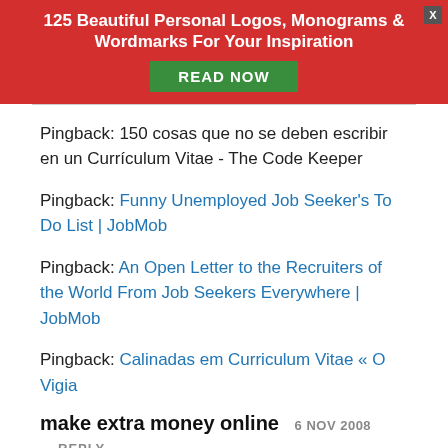[Figure (infographic): Red advertisement banner with title '125 Beautiful Personal Logos, Monograms & Wordmarks For Your Inspiration' and a green READ NOW button, with an X close button]
Pingback: 150 cosas que no se deben escribir en un Currículum Vitae - The Code Keeper
Pingback: Funny Unemployed Job Seeker's To Do List | JobMob
Pingback: An Open Letter to the Recruiters of the World From Job Seekers Everywhere | JobMob
Pingback: Calinadas em Curriculum Vitae « O Vigia
make extra money online  6 NOV 2008  REPLY
[Figure (infographic): Social share bar with share icon, 4K SHARES count, and buttons for Twitter, Pinterest, Facebook, LinkedIn, Email]